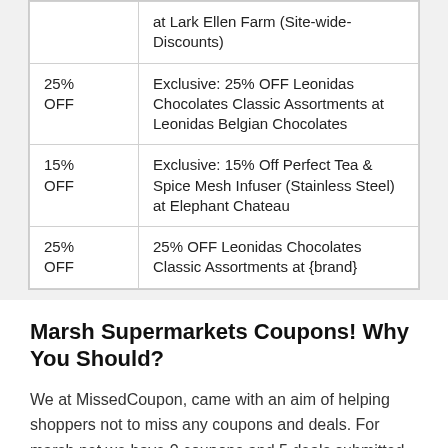| Discount | Description |
| --- | --- |
|  | at Lark Ellen Farm (Site-wide-Discounts) |
| 25% OFF | Exclusive: 25% OFF Leonidas Chocolates Classic Assortments at Leonidas Belgian Chocolates |
| 15% OFF | Exclusive: 15% Off Perfect Tea & Spice Mesh Infuser (Stainless Steel) at Elephant Chateau |
| 25% OFF | 25% OFF Leonidas Chocolates Classic Assortments at {brand} |
Marsh Supermarkets Coupons! Why You Should?
We at MissedCoupon, came with an aim of helping shoppers not to miss any coupons and deals. For marsh.net we have 0 coupons and 5 deals submitted by our fans and fellow shoppers to help you to save while purchasing marsh.net products.
We will take this as an excellent opportunity to provide...